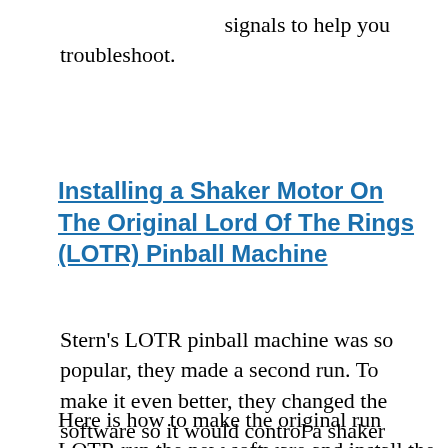signals to help you troubleshoot.
Installing a Shaker Motor On The Original Lord Of The Rings (LOTR) Pinball Machine
Stern's LOTR pinball machine was so popular, they made a second run. To make it even better, they changed the software so it would control a shaker motor. Here is how to make the original run LOTR run the new software and install the shaker motor